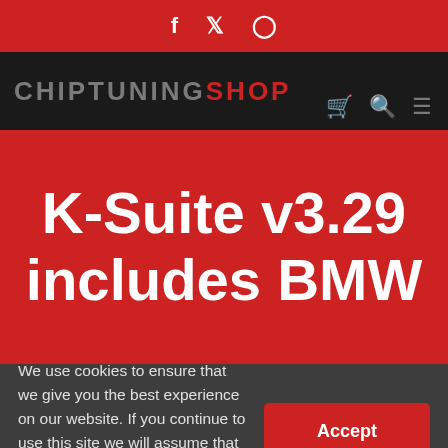f  🐦  ☐ (social media icons: Facebook, Twitter, Instagram)
[Figure (logo): ChiptuningShop logo with navigation icons (cart, search, menu) on dark background]
K-Suite v3.29 includes BMW
We use cookies to ensure that we give you the best experience on our website. If you continue to use this site we will assume that you are happy with it. More info >>